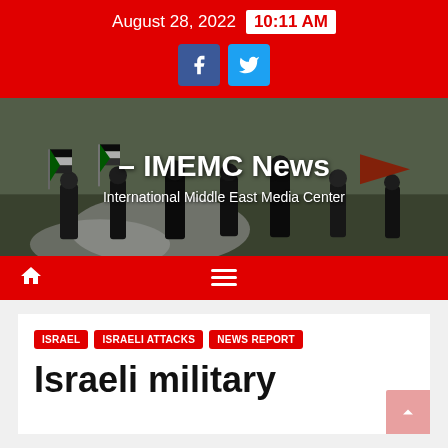August 28, 2022  10:11 AM
[Figure (photo): People waving Palestinian flags in an open landscape with smoke, IMEMC News website header banner]
– IMEMC News
International Middle East Media Center
ISRAEL  ISRAELI ATTACKS  NEWS REPORT
Israeli military